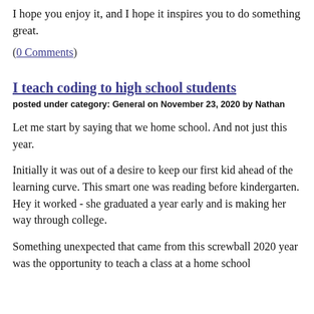I hope you enjoy it, and I hope it inspires you to do something great.
(0 Comments)
I teach coding to high school students
posted under category: General on November 23, 2020 by Nathan
Let me start by saying that we home school. And not just this year.
Initially it was out of a desire to keep our first kid ahead of the learning curve. This smart one was reading before kindergarten. Hey it worked - she graduated a year early and is making her way through college.
Something unexpected that came from this screwball 2020 year was the opportunity to teach a class at a home school